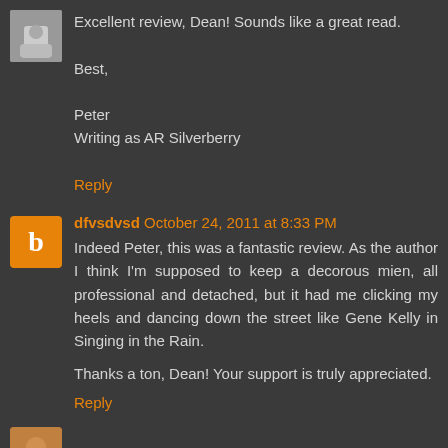[Figure (photo): Small avatar photo of a person in top left corner]
Excellent review, Dean! Sounds like a great read.
Best,
Peter
Writing as AR Silverberry
Reply
[Figure (logo): Orange Blogger 'B' icon avatar for user dfvsdvsd]
dfvsdvsd October 24, 2011 at 8:33 PM
Indeed Peter, this was a fantastic review. As the author I think I'm supposed to keep a decorous mien, all professional and detached, but it had me clicking my heels and dancing down the street like Gene Kelly in Singing in the Rain.
Thanks a ton, Dean! Your support is truly appreciated.
Reply
[Figure (photo): Small avatar for DeanfromAustralia]
DeanfromAustralia ✏ October 24, 2011 at 10:41 PM